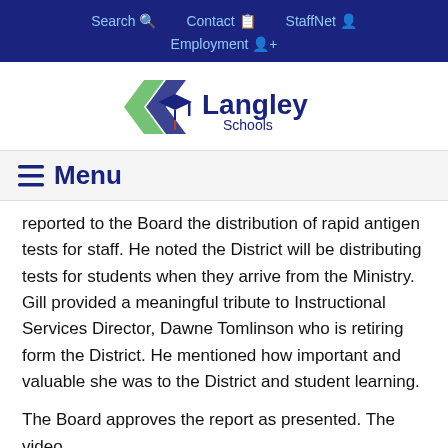Search  Contact  StaffNet  Employment
[Figure (logo): Langley Schools logo with green and blue chevron/mortarboard icon and text 'Langley Schools']
☰ Menu
reported to the Board the distribution of rapid antigen tests for staff. He noted the District will be distributing tests for students when they arrive from the Ministry. Gill provided a meaningful tribute to Instructional Services Director, Dawne Tomlinson who is retiring form the District. He mentioned how important and valuable she was to the District and student learning.
The Board approves the report as presented. The video